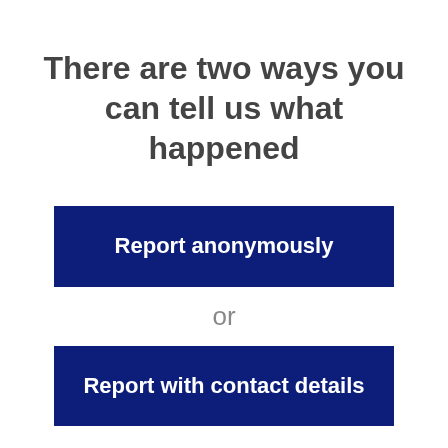There are two ways you can tell us what happened
Report anonymously
or
Report with contact details